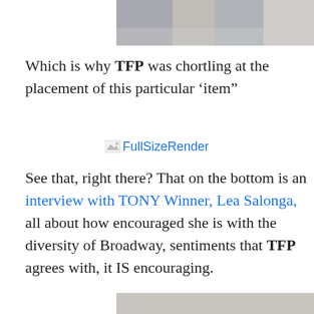[Figure (photo): Top portion of a group photo, partially cropped at top of page]
Which is why TFP was chortling at the placement of this particular ‘item”
[Figure (photo): Broken image placeholder labeled FullSizeRender]
See that, right there? That on the bottom is an interview with TONY Winner, Lea Salonga, all about how encouraged she is with the diversity of Broadway, sentiments that TFP agrees with, it IS encouraging.
[Figure (photo): Photo of two men celebrating or reacting excitedly in what appears to be a TV show set, with boxes visible]